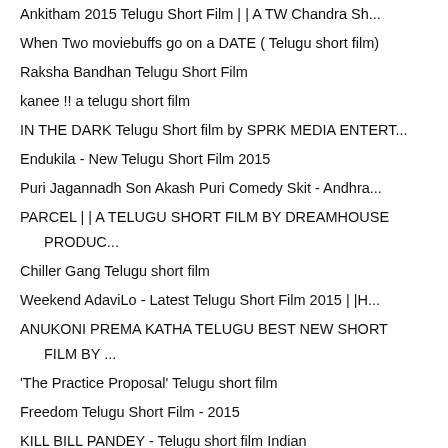Ankitham 2015 Telugu Short Film | | A TW Chandra Sh...
When Two moviebuffs go on a DATE ( Telugu short film)
Raksha Bandhan Telugu Short Film
kanee !! a telugu short film
IN THE DARK Telugu Short film by SPRK MEDIA ENTERT...
Endukila - New Telugu Short Film 2015
Puri Jagannadh Son Akash Puri Comedy Skit - Andhra...
PARCEL | | A TELUGU SHORT FILM BY DREAMHOUSE PRODUC...
Chiller Gang Telugu short film
Weekend AdaviLo - Latest Telugu Short Film 2015 | |H...
ANUKONI PREMA KATHA TELUGU BEST NEW SHORT FILM BY ...
'The Practice Proposal' Telugu short film
Freedom Telugu Short Film - 2015
KILL BILL PANDEY - Telugu short film Indian
Cheruvulo Chaapalu Inka Unnai | | Latest Comedy Tel...
husnabad Okka sms short film telugu